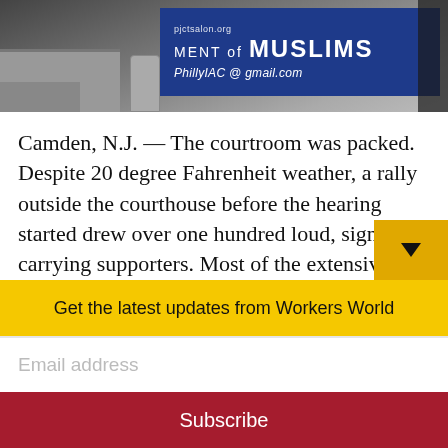[Figure (photo): Protest photo showing a blue banner with text about Muslims, with contact info including PhillyIAC@gmail.com]
Camden, N.J. — The courtroom was packed. Despite 20 degree Fahrenheit weather, a rally outside the courthouse before the hearing started drew over one hundred loud, sign-carrying supporters. Most of the extensive press coverage before and after the hearings questioned whether the Fort Dix 5 should have been convicted.
But will the pressure from the community
Get the latest updates from Workers World
Email address
Subscribe